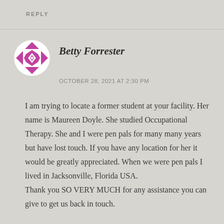REPLY
[Figure (illustration): Circular avatar with purple geometric diamond/quilt pattern on white background]
Betty Forrester
OCTOBER 28, 2021 AT 2:30 PM
I am trying to locate a former student at your facility. Her name is Maureen Doyle. She studied Occupational Therapy. She and I were pen pals for many many years but have lost touch. If you have any location for her it would be greatly appreciated. When we were pen pals I lived in Jacksonville, Florida USA.
Thank you SO VERY MUCH for any assistance you can give to get us back in touch.